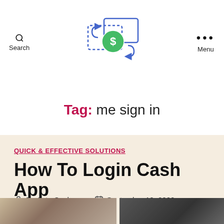Search | [Logo] | Menu
Tag: me sign in
QUICK & EFFECTIVE SOLUTIONS
How To Login Cash App
By Auto Cashapps   September 10, 2020
[Figure (photo): Two photos partially visible at bottom: left shows a person, right shows a darker image]